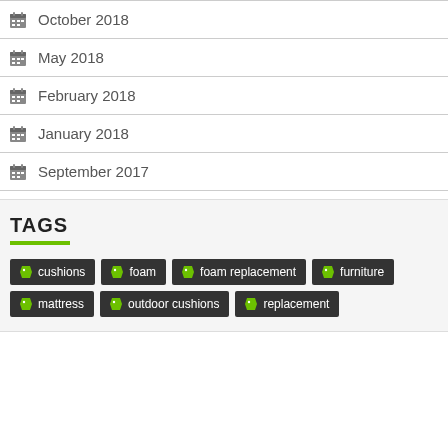October 2018
May 2018
February 2018
January 2018
September 2017
TAGS
cushions
foam
foam replacement
furniture
mattress
outdoor cushions
replacement